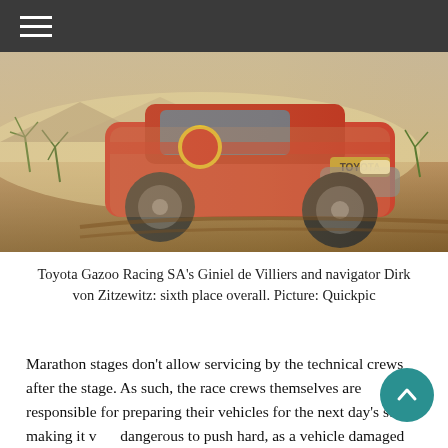[Figure (photo): A Red Bull-liveried Toyota Hilux off-road racing truck navigating a dusty desert terrain with scrubby vegetation, heavily covered in dust and dirt, showing the vehicle at a dynamic angle on rough ground.]
Toyota Gazoo Racing SA's Giniel de Villiers and navigator Dirk von Zitzewitz: sixth place overall. Picture: Quickpic
Marathon stages don't allow servicing by the technical crews after the stage. As such, the race crews themselves are responsible for preparing their vehicles for the next day's stage, making it very dangerous to push hard, as a vehicle damaged during the marathon stage could well cost a lot of time, if not